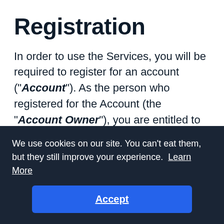Registration
In order to use the Services, you will be required to register for an account (“Account”). As the person who registered for the Account (the “Account Owner”), you are entitled to certain administrative permissions as set out in the Services. As part of the Account creation process, you will be asked to provide a username and password unique to the
We use cookies on our site. You can’t eat them, but they still improve your experience. Learn More
Accept
party other than an individual with express